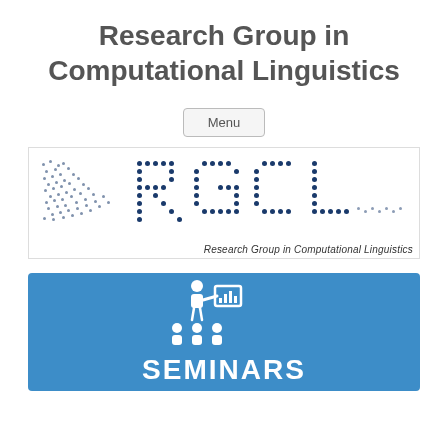Research Group in Computational Linguistics
Menu
[Figure (logo): RGCL logo made of dot-matrix style letters spelling RGCL with subtitle 'Research Group in Computational Linguistics']
[Figure (infographic): Blue banner with white icon of a presenter at a chart board with audience, labeled SEMINARS in large white bold text]